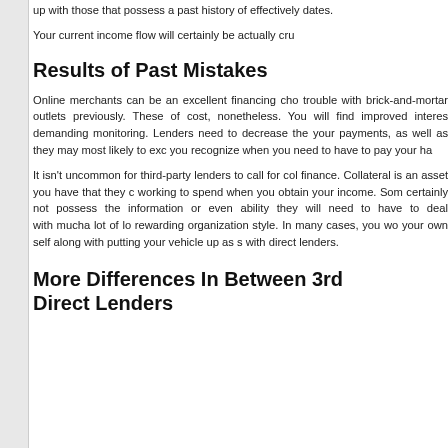up with those that possess a past history of effectively dates.
Your current income flow will certainly be actually cru
Results of Past Mistakes
Online merchants can be an excellent financing cho trouble with brick-and-mortar outlets previously. These of cost, nonetheless. You will find improved interes demanding monitoring. Lenders need to decrease the your payments, as well as they may most likely to exc you recognize when you need to have to pay your ha
It isn't uncommon for third-party lenders to call for col finance. Collateral is an asset you have that they c working to spend when you obtain your income. Som certainly not possess the information or even ability they will need to have to deal with mucha lot of lo rewarding organization style. In many cases, you wo your own self along with putting your vehicle up as s with direct lenders.
More Differences In Between 3rd Direct Lenders